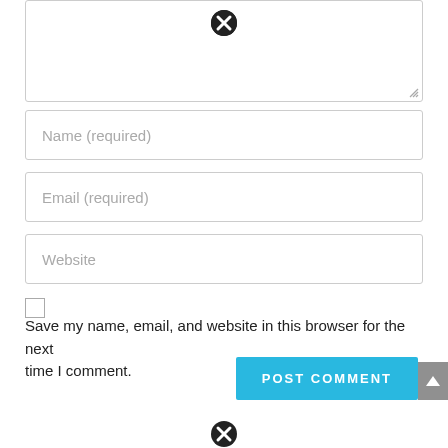[Figure (screenshot): Textarea input box with a close/clear icon (circled X) at the top center and a resize handle at bottom right]
Name (required)
Email (required)
Website
Save my name, email, and website in this browser for the next time I comment.
POST COMMENT
[Figure (screenshot): Close/clear icon (circled X) at bottom center of page]